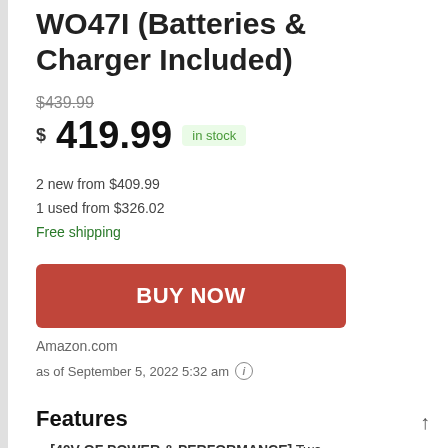WO47I (Batteries & Charger Included)
$439.99 (strikethrough)
$419.99  in stock
2 new from $409.99
1 used from $326.02
Free shipping
BUY NOW
Amazon.com
as of September 5, 2022 5:32 am (i)
Features
[40V OF POWER & PERFORMANCE] Two